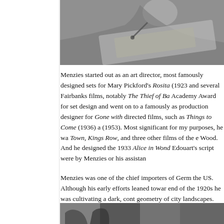[Figure (photo): Black and white photograph of a person drawing or working on artwork/plans at a desk, viewed from above]
Menzies started out as an art director, most famously designed sets for Mary Pickford's Rosita (1923) and several Fairbanks films, notably The Thief of Bagdad. Academy Award for set design and went on to work most famously as production designer for Gone with the Wind, directed films, such as Things to Come (1936) and Invaders (1953). Most significant for my purposes, he was Kings Town, Kings Row, and three other films of the era Sam Wood. And he designed the 1933 Alice in Wonderland. Edouart's script were by Menzies or his assistants.
Menzies was one of the chief importers of German style to the US. Although his early efforts leaned toward end of the 1920s he was cultivating a dark, contrasty geometry of city landscapes.
[Figure (photo): Black and white photograph, partially visible at bottom of page]